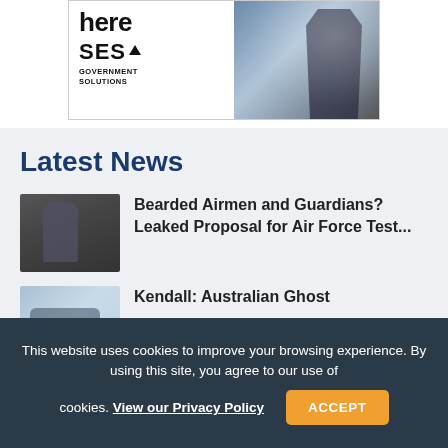[Figure (illustration): SES Government Solutions advertisement banner with partial text 'here', SES logo with triangle, 'GOVERNMENT SOLUTIONS' text, and a dark figure against a cloudy sky background]
Latest News
[Figure (photo): Photo of a uniformed airman wearing a turban, in military uniform]
Bearded Airmen and Guardians? Leaked Proposal for Air Force Test...
[Figure (photo): Light blue image of what appears to be a military aircraft]
Kendall: Australian Ghost ...
This website uses cookies to improve your browsing experience. By using this site, you agree to our use of cookies. View our Privacy Policy  ACCEPT